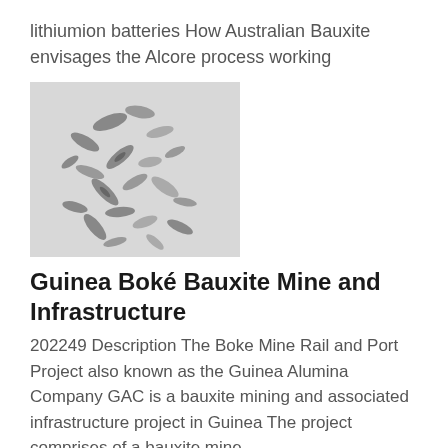lithiumion batteries How Australian Bauxite envisages the Alcore process working
[Figure (photo): Photo of small elongated grey mineral grains/crystals scattered on a white surface]
Guinea Boké Bauxite Mine and Infrastructure
202249 Description The Boke Mine Rail and Port Project also known as the Guinea Alumina Company GAC is a bauxite mining and associated infrastructure project in Guinea The project comprises of a bauxite mine
[Figure (photo): Photo of a smooth rounded beige/cream coloured bauxite rock on a light blue background]